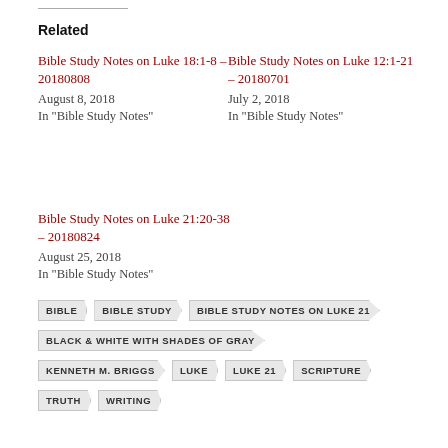Related
Bible Study Notes on Luke 18:1-8 – 20180808
August 8, 2018
In "Bible Study Notes"
Bible Study Notes on Luke 12:1-21 – 20180701
July 2, 2018
In "Bible Study Notes"
Bible Study Notes on Luke 21:20-38 – 20180824
August 25, 2018
In "Bible Study Notes"
BIBLE
BIBLE STUDY
BIBLE STUDY NOTES ON LUKE 21
BLACK & WHITE WITH SHADES OF GRAY
KENNETH M. BRIGGS
LUKE
LUKE 21
SCRIPTURE
TRUTH
WRITING